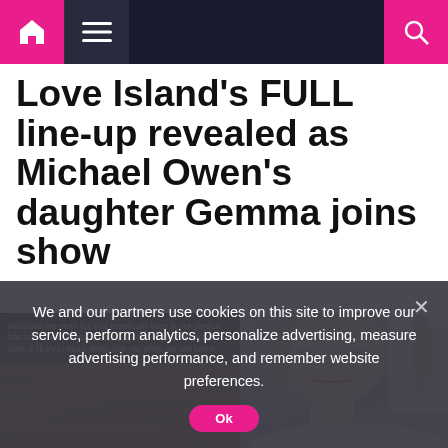Navigation bar with home icon, hamburger menu, and search icon
Love Island's FULL line-up revealed as Michael Owen's daughter Gemma joins show
[Figure (screenshot): Two side-by-side images: left shows a social media post with text overlay on wooden blinds background; right shows a young blonde woman (Gemma Owen) smiling in a modern room]
We and our partners use cookies on this site to improve our service, perform analytics, personalize advertising, measure advertising performance, and remember website preferences.